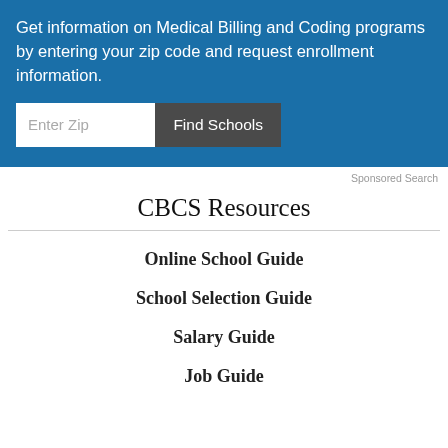Get information on Medical Billing and Coding programs by entering your zip code and request enrollment information.
[Figure (screenshot): Form with Enter Zip text input and Find Schools button on blue background]
Sponsored Search
CBCS Resources
Online School Guide
School Selection Guide
Salary Guide
Job Guide